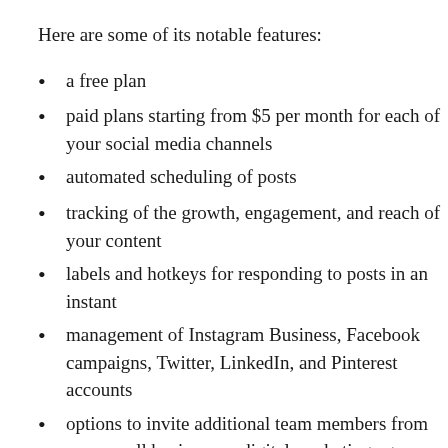Here are some of its notable features:
a free plan
paid plans starting from $5 per month for each of your social media channels
automated scheduling of posts
tracking of the growth, engagement, and reach of your content
labels and hotkeys for responding to posts in an instant
management of Instagram Business, Facebook campaigns, Twitter, LinkedIn, and Pinterest accounts
options to invite additional team members from your small business or digital marketing agency, set custom access and permissions, and set post drafting